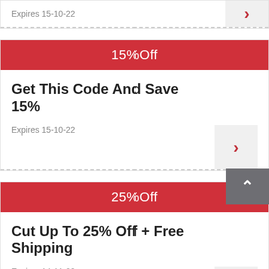Expires 15-10-22
15%Off
Get This Code And Save 15%
Expires 15-10-22
25%Off
Cut Up To 25% Off + Free Shipping
Expires 14-11-22